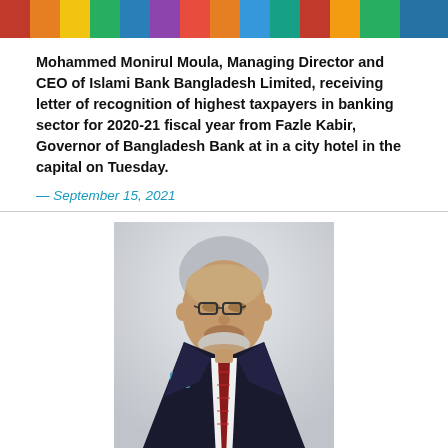[Figure (photo): Top banner image showing colorful event with people in bright colors]
Mohammed Monirul Moula, Managing Director and CEO of Islami Bank Bangladesh Limited, receiving letter of recognition of highest taxpayers in banking sector for 2020-21 fiscal year from Fazle Kabir, Governor of Bangladesh Bank at in a city hotel in the capital on Tuesday.
— September 15, 2021
[Figure (photo): Portrait photograph of Mohammed Monirul Moula, an elderly gentleman wearing glasses and a dark suit with a red striped tie and blue pocket square]